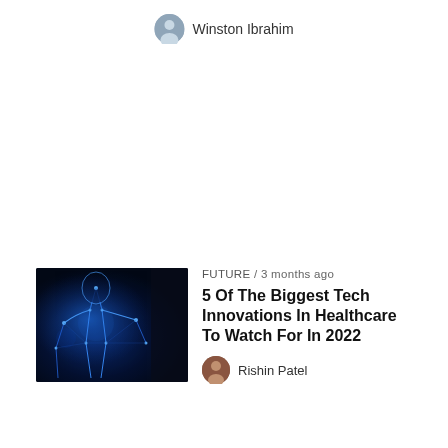Winston Ibrahim
[Figure (photo): Thumbnail image of a digital human body or neural network visualization with glowing blue lines on dark background]
FUTURE / 3 months ago
5 Of The Biggest Tech Innovations In Healthcare To Watch For In 2022
Rishin Patel